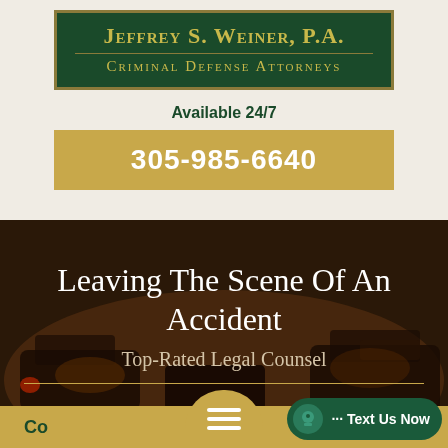[Figure (logo): Jeffrey S. Weiner, P.A. Criminal Defense Attorneys logo — dark green background with gold text and border]
Available 24/7
305-985-6640
[Figure (photo): Dark nighttime scene with traffic and vehicles in background]
Leaving The Scene Of An Accident
Top-Rated Legal Counsel